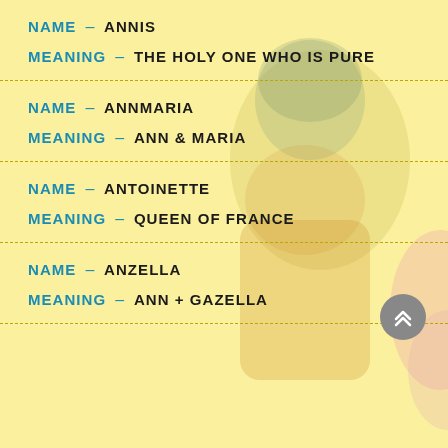NAME – ANNIS
MEANING – THE HOLY ONE WHO IS PURE
NAME – ANNMARIA
MEANING – ANN & MARIA
NAME – ANTOINETTE
MEANING – QUEEN OF FRANCE
NAME – ANZELLA
MEANING – ANN + GAZELLA